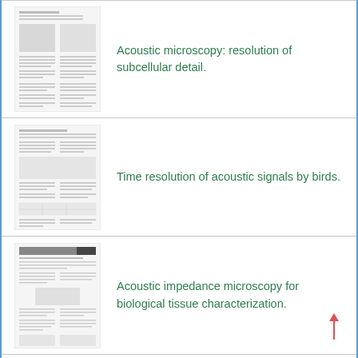[Figure (screenshot): Thumbnail of a scientific paper page about acoustic microscopy]
Acoustic microscopy: resolution of subcellular detail.
[Figure (screenshot): Thumbnail of a scientific paper page about time resolution of acoustic signals by birds]
Time resolution of acoustic signals by birds.
[Figure (screenshot): Thumbnail of a scientific paper page about acoustic impedance microscopy]
Acoustic impedance microscopy for biological tissue characterization.